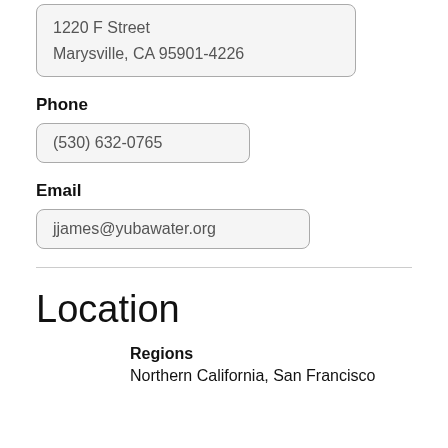1220 F Street
Marysville, CA 95901-4226
Phone
(530) 632-0765
Email
jjames@yubawater.org
Location
Regions
Northern California, San Francisco